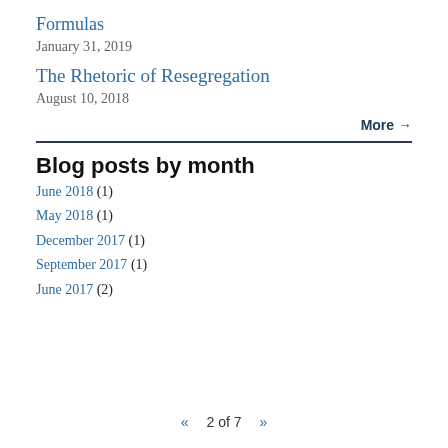Formulas
January 31, 2019
The Rhetoric of Resegregation
August 10, 2018
More →
Blog posts by month
June 2018 (1)
May 2018 (1)
December 2017 (1)
September 2017 (1)
June 2017 (2)
« 2 of 7 »